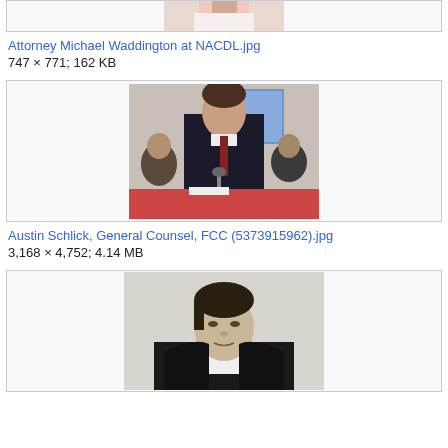[Figure (photo): Partial view of a person in white clothing, cropped image box at top of page]
Attorney Michael Waddington at NACDL.jpg
747 × 771; 162 KB
[Figure (photo): Man in dark suit sitting at a table with a microphone, attending what appears to be a formal hearing or conference. Blue screen visible in background.]
Austin Schlick, General Counsel, FCC (5373915962).jpg
3,168 × 4,752; 4.14 MB
[Figure (photo): Black and white portrait of a man from the 19th century, wearing a dark coat and white shirt with bow tie.]